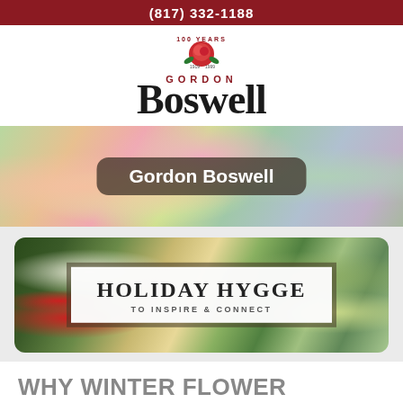(817) 332-1188
[Figure (logo): Gordon Boswell Flowers logo with '100 Years 1919-2019' rose emblem above stylized 'Gordon Boswell' text]
[Figure (photo): Flower arrangement photo banner with overlay button reading 'Gordon Boswell']
[Figure (photo): Holiday floral arrangement photo card with text overlay reading 'HOLIDAY HYGGE / TO INSPIRE & CONNECT']
WHY WINTER FLOWER ARRANGEMENTS OFFER